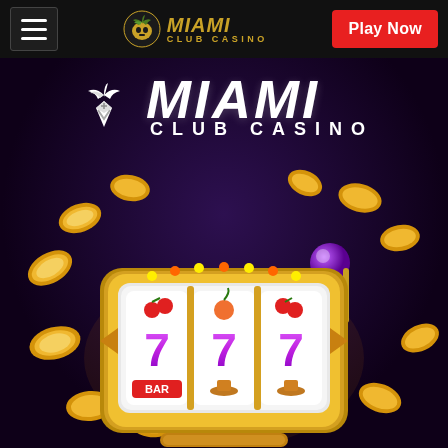[Figure (screenshot): Miami Club Casino website screenshot showing navigation bar with hamburger menu, Miami Club Casino logo in gold, and red Play Now button]
[Figure (illustration): Miami Club Casino promotional image showing large white/silver logo on dark purple background, with a gold slot machine showing 777 and gold coins scattered around it]